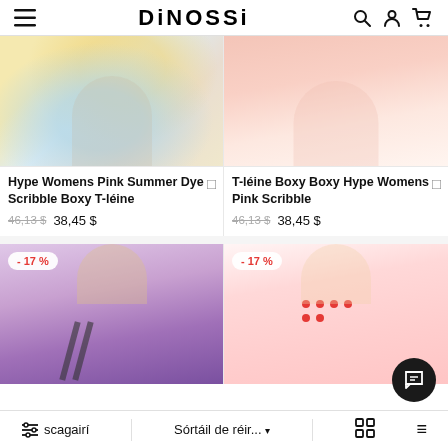DINOSSI
[Figure (photo): Woman wearing tie-dye yellow and blue summer t-shirt, cropped view]
Hype Womens Pink Summer Dye Scribble Boxy T-léine
46,13 $  38,45 $
[Figure (photo): Woman wearing pink boxy t-shirt, cropped view]
T-léine Boxy Boxy Hype Womens Pink Scribble
46,13 $  38,45 $
[Figure (photo): Woman wearing purple/lilac hoodie with text tape, discount badge -17%]
[Figure (photo): Woman wearing pink t-shirt with red hearts print, discount badge -17%]
scagairí   Sórtáil de réir...   □